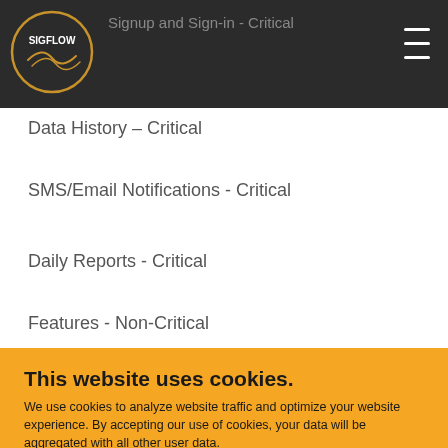Signup and Sign-in - Critical
Data History – Critical
SMS/Email Notifications - Critical
Daily Reports - Critical
Features - Non-Critical
This website uses cookies.
We use cookies to analyze website traffic and optimize your website experience. By accepting our use of cookies, your data will be aggregated with all other user data.
ACCEPT